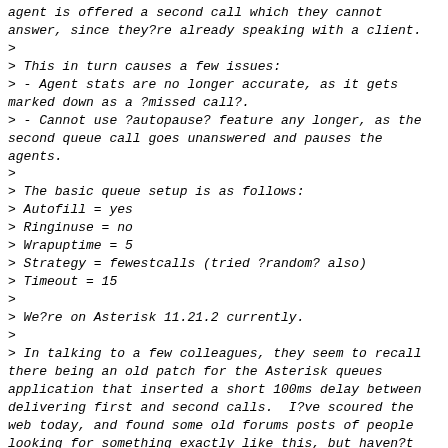agent is offered a second call which they cannot answer, since they?re already speaking with a client.
>
> This in turn causes a few issues:
> - Agent stats are no longer accurate, as it gets marked down as a ?missed call?.
> - Cannot use ?autopause? feature any longer, as the second queue call goes unanswered and pauses the agents.
>
> The basic queue setup is as follows:
> Autofill = yes
> Ringinuse = no
> Wrapuptime = 5
> Strategy = fewestcalls (tried ?random? also)
> Timeout = 15
>
> We?re on Asterisk 11.21.2 currently.
>
> In talking to a few colleagues, they seem to recall there being an old patch for the Asterisk queues application that inserted a short 100ms delay between delivering first and second calls.  I?ve scoured the web today, and found some old forums posts of people looking for something exactly like this, but haven?t found the actual patch, if one even exists.
>
> I?m hoping someone may have some suggestions on some options we can try to eliminate this issue.
>